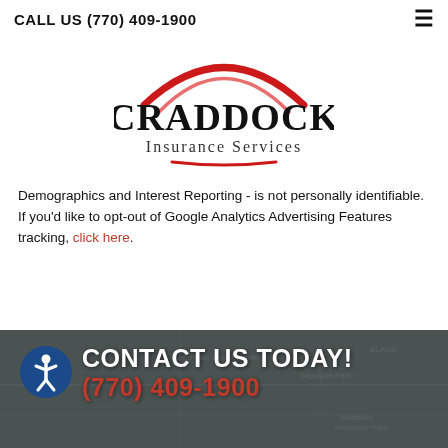CALL US (770) 409-1900
[Figure (logo): Craddock Insurance Services logo with red arc above company name]
Demographics and Interest Reporting - is not personally identifiable. If you'd like to opt-out of Google Analytics Advertising Features tracking, click here.
[Figure (map): Background map showing local area near Craddock Insurance Services]
CONTACT US TODAY! (770) 409-1900